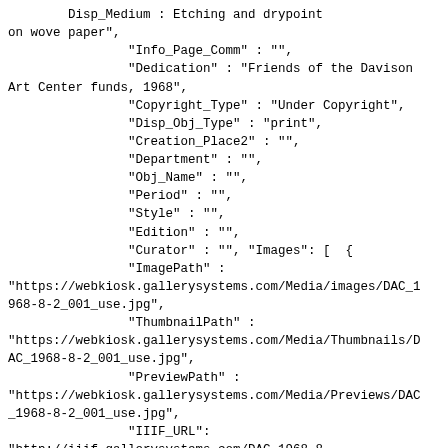Disp_Medium : Etching and drypoint on wove paper",
                "Info_Page_Comm" : "",
                "Dedication" : "Friends of the Davison Art Center funds, 1968",
                "Copyright_Type" : "Under Copyright",
                "Disp_Obj_Type" : "print",
                "Creation_Place2" : "",
                "Department" : "",
                "Obj_Name" : "",
                "Period" : "",
                "Style" : "",
                "Edition" : "",
                "Curator" : "", "Images": [ {
                "ImagePath" :
"https://webkiosk.gallerysystems.com/Media/images/DAC_1968-8-2_001_use.jpg",
                "ThumbnailPath" :
"https://webkiosk.gallerysystems.com/Media/Thumbnails/DAC_1968-8-2_001_use.jpg",
                "PreviewPath" :
"https://webkiosk.gallerysystems.com/Media/Previews/DAC_1968-8-2_001_use.jpg",
                "IIIF_URL":
"http://iiif.gallerysystems.com/DAC_1968-8-2_001_use.jpg",
                "IsPrimary" : "1",
                "_SurrogateID" : "3450",
                "Image_Type" : "",
                "Photo_Credit" : "",
                "Remarks" : "",